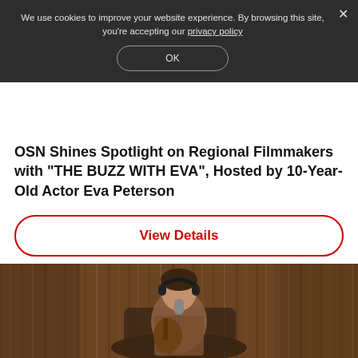We use cookies to improve your website experience. By browsing this site, you're accepting our privacy policy
OK
OSN Shines Spotlight on Regional Filmmakers with “THE BUZZ WITH EVA”, Hosted by 10-Year-Old Actor Eva Peterson
View Details
[Figure (photo): A young woman sitting in a patterned armchair, wearing headphones and a plaid shirt, playing acoustic guitar in front of a microphone, with a wooden paneled wall in the background]